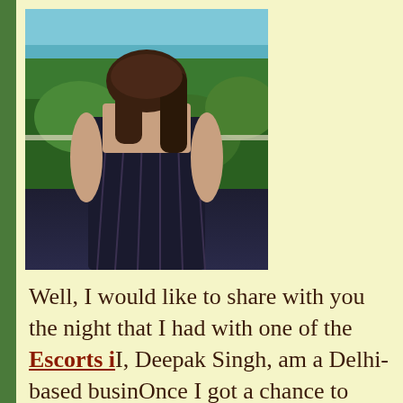[Figure (photo): A woman standing with her back to the camera, wearing a black crochet/knit skirt and a backless top, facing a scenic outdoor area with green vegetation and ocean/sky visible in the background.]
Well, I would like to share with you the night that I had with one of the Escorts i... I, Deepak Singh, am a Delhi-based busin... Once I got a chance to come to Mumbai regarding my business deal. My deal was successfully finalized and my romance h...